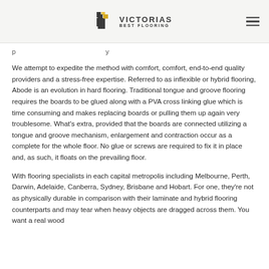VICTORIAS BEST FLOORING
p ... y
We attempt to expedite the method with comfort, comfort, end-to-end quality providers and a stress-free expertise. Referred to as inflexible or hybrid flooring, Abode is an evolution in hard flooring. Traditional tongue and groove flooring requires the boards to be glued along with a PVA cross linking glue which is time consuming and makes replacing boards or pulling them up again very troublesome. What's extra, provided that the boards are connected utilizing a tongue and groove mechanism, enlargement and contraction occur as a complete for the whole floor. No glue or screws are required to fix it in place and, as such, it floats on the prevailing floor.
With flooring specialists in each capital metropolis including Melbourne, Perth, Darwin, Adelaide, Canberra, Sydney, Brisbane and Hobart. For one, they're not as physically durable in comparison with their laminate and hybrid flooring counterparts and may tear when heavy objects are dragged across them. You want a real wood